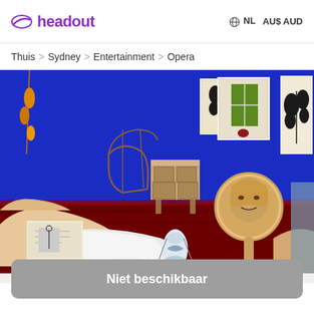headout   NL  AU$AUD
Thuis > Sydney > Entertainment > Opera
[Figure (illustration): Painting depicting a blue room interior with a reclining nude figure, an artist holding a mirror reflecting a self-portrait, artworks on the wall, a chair, red patterned carpet, and various decorative objects.]
Niet beschikbaar